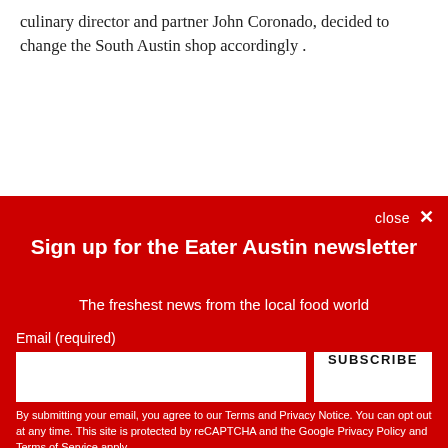culinary director and partner John Coronado, decided to change the South Austin shop accordingly .
close ✕
Sign up for the Eater Austin newsletter
The freshest news from the local food world
Email (required)
SUBSCRIBE
By submitting your email, you agree to our Terms and Privacy Notice. You can opt out at any time. This site is protected by reCAPTCHA and the Google Privacy Policy and Terms of Service apply.